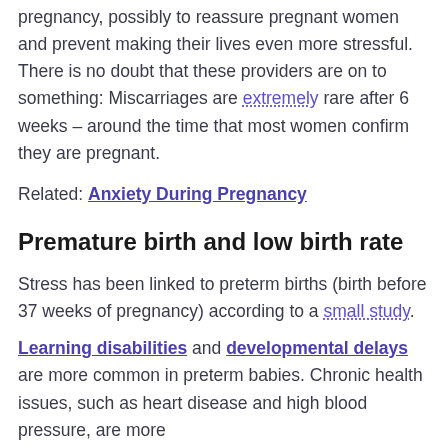pregnancy, possibly to reassure pregnant women and prevent making their lives even more stressful. There is no doubt that these providers are on to something: Miscarriages are extremely rare after 6 weeks – around the time that most women confirm they are pregnant.
Related: Anxiety During Pregnancy
Premature birth and low birth rate
Stress has been linked to preterm births (birth before 37 weeks of pregnancy) according to a small study.
Learning disabilities and developmental delays are more common in preterm babies. Chronic health issues, such as heart disease and high blood pressure, are more